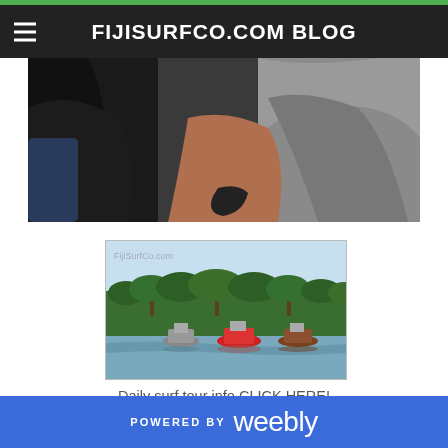FIJISURFCO.COM BLOG
[Figure (photo): Close-up photo of a person in a gray t-shirt, partially cropped, showing torso and arms]
[Figure (photo): Photo of several boats on calm water with dense palm trees in the background. FijiSurfCo.com watermark visible in upper left.]
Daily surf tour info CLICK HERE!
[Figure (photo): Partial view of what appears to be an Instagram icon or social media logo, blue background with white letter G or similar icon]
POWERED BY weebly